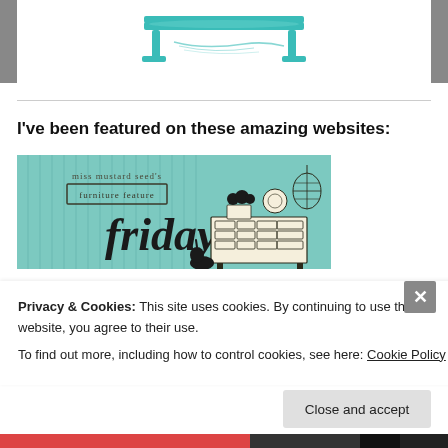[Figure (illustration): Teal/turquoise colored bench or settee illustration on white background inside a gray-bordered frame at top of page]
I've been featured on these amazing websites:
[Figure (illustration): Miss Mustard Seed's Furniture Feature Friday badge — teal striped background with silhouettes of a dresser, plants, birdcage, and cursive 'friday' text]
Privacy & Cookies: This site uses cookies. By continuing to use this website, you agree to their use.
To find out more, including how to control cookies, see here: Cookie Policy
Close and accept